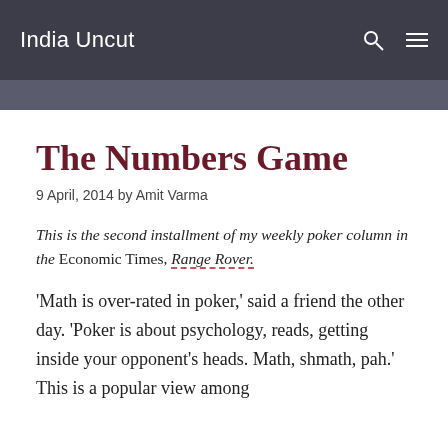India Uncut
The Numbers Game
9 April, 2014 by Amit Varma
This is the second installment of my weekly poker column in the Economic Times, Range Rover.
'Math is over-rated in poker,' said a friend the other day. 'Poker is about psychology, reads, getting inside your opponent's heads. Math, shmath, pah.' This is a popular view among